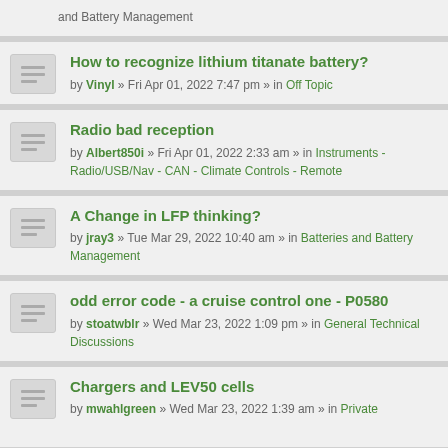and Battery Management
How to recognize lithium titanate battery? by Vinyl » Fri Apr 01, 2022 7:47 pm » in Off Topic
Radio bad reception by Albert850i » Fri Apr 01, 2022 2:33 am » in Instruments - Radio/USB/Nav - CAN - Climate Controls - Remote
A Change in LFP thinking? by jray3 » Tue Mar 29, 2022 10:40 am » in Batteries and Battery Management
odd error code - a cruise control one - P0580 by stoatwblr » Wed Mar 23, 2022 1:09 pm » in General Technical Discussions
Chargers and LEV50 cells by mwahlgreen » Wed Mar 23, 2022 1:39 am » in Private